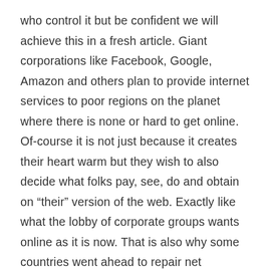who control it but be confident we will achieve this in a fresh article. Giant corporations like Facebook, Google, Amazon and others plan to provide internet services to poor regions on the planet where there is none or hard to get online. Of-course it is not just because it creates their heart warm but they wish to also decide what folks pay, see, do and obtain on “their” version of the web. Exactly like what the lobby of corporate groups wants online as it is now. That is also why some countries went ahead to repair net neutrality by law, even though some implemented a weak version of it under pressure from the corporate lobby. So you may want to take a look at how this is arranged in your country if at all.